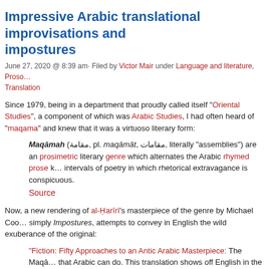Impressive Arabic translational improvisations and impostures
June 27, 2020 @ 8:39 am· Filed by Victor Mair under Language and literature, Proso… Translation
Since 1979, being in a department that proudly called itself "Oriental Studies", a component of which was Arabic Studies, I had often heard of "maqama" and knew that it was a virtuoso literary form:
Maqāmah (مقامة, pl. maqāmāt, مقامات, literally "assemblies") are an prosimetric literary genre which alternates the Arabic rhymed prose k… intervals of poetry in which rhetorical extravagance is conspicuous.
Source
Now, a new rendering of al-Ḥarīrī's masterpiece of the genre by Michael Coo… simply Impostures, attempts to convey in English the wild exuberance of the original:
"Fiction: Fifty Approaches to an Antic Arabic Masterpiece: The Maqā… that Arabic can do. This translation shows off English in the same flat… Sam Sacks, Wall Street Journal (June 26, 2020)
Read the rest of this entry »